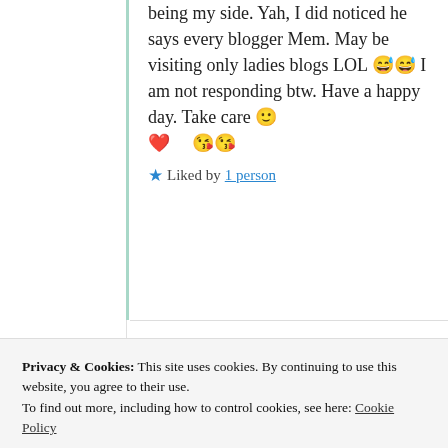being my side. Yah, I did noticed he says every blogger Mem. May be visiting only ladies blogs LOL 😅😅 I am not responding btw. Have a happy day. Take care 🙂 ❤️ 😘😘
★ Liked by 1 person
Privacy & Cookies: This site uses cookies. By continuing to use this website, you agree to their use. To find out more, including how to control cookies, see here: Cookie Policy
Close and accept
7:01 am